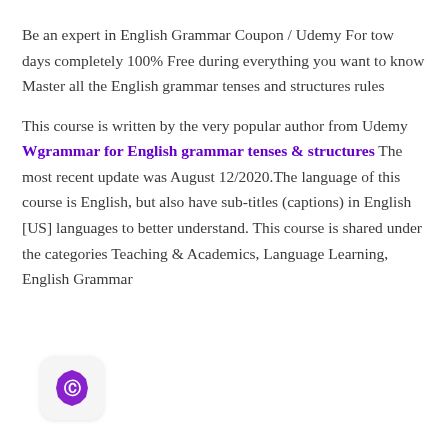Be an expert in English Grammar Coupon / Udemy For tow days completely 100% Free during everything you want to know Master all the English grammar tenses and structures rules
This course is written by the very popular author from Udemy Wgrammar for English grammar tenses & structures The most recent update was August 12/2020.The language of this course is English, but also have sub-titles (captions) in English [US] languages to better understand. This course is shared under the categories Teaching & Academics, Language Learning, English Grammar
[Figure (logo): Purple badge/shield icon with letter C, on light gray rounded square background]